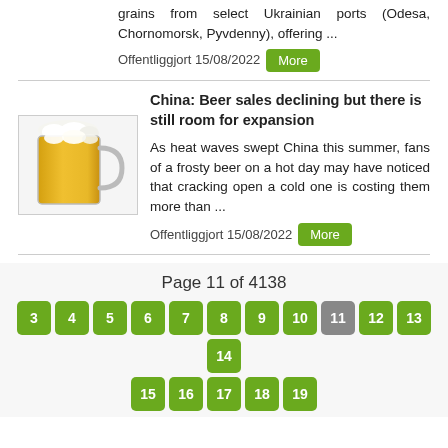grains from select Ukrainian ports (Odesa, Chornomorsk, Pyvdenny), offering ...
Offentliggjort 15/08/2022
China: Beer sales declining but there is still room for expansion
[Figure (photo): Photo of a glass beer mug filled with golden beer and white foam head]
As heat waves swept China this summer, fans of a frosty beer on a hot day may have noticed that cracking open a cold one is costing them more than ...
Offentliggjort 15/08/2022
Page 11 of 4138
3 4 5 6 7 8 9 10 11 12 13 14 15 16 17 18 19